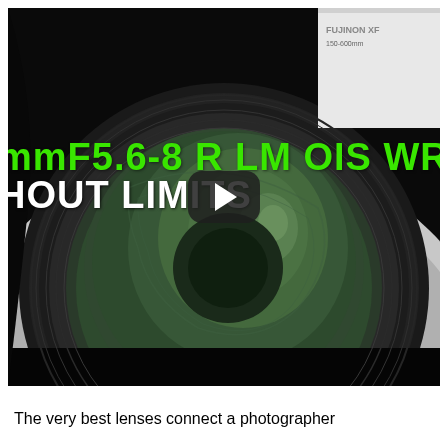[Figure (screenshot): A close-up photo of a white camera lens (Fujinon XF 150-600mmF5.6-8 R LM OIS WR) showing the large front element with green-tinted glass. Overlaid on the image is green text reading 'mmF5.6-8 R LM OIS WR' and white bold text reading 'HOUT LIMITS'. A video play button (dark rounded rectangle with white triangle) is centered on the image.]
The very best lenses connect a photographer